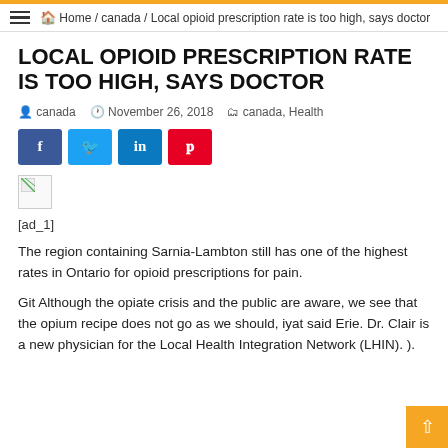Home / canada / Local opioid prescription rate is too high, says doctor
LOCAL OPIOID PRESCRIPTION RATE IS TOO HIGH, SAYS DOCTOR
canada   November 26, 2018   canada, Health
[Figure (other): Social sharing buttons: Facebook, Twitter, LinkedIn, Pinterest]
[Figure (photo): Broken/missing image placeholder]
[ad_1]
The region containing Sarnia-Lambton still has one of the highest rates in Ontario for opioid prescriptions for pain.
Git Although the opiate crisis and the public are aware, we see that the opium recipe does not go as we should, iyat said Erie. Dr. Clair is a new physician for the Local Health Integration Network (LHIN). ).